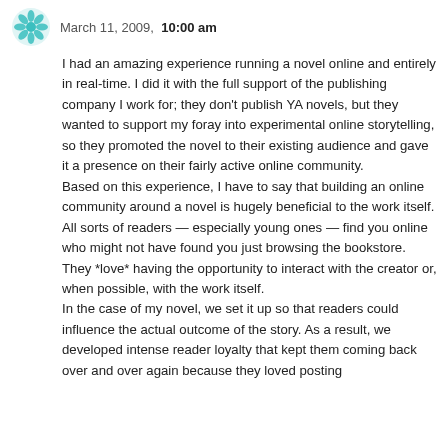March 11, 2009, 10:00 am
I had an amazing experience running a novel online and entirely in real-time. I did it with the full support of the publishing company I work for; they don't publish YA novels, but they wanted to support my foray into experimental online storytelling, so they promoted the novel to their existing audience and gave it a presence on their fairly active online community.
Based on this experience, I have to say that building an online community around a novel is hugely beneficial to the work itself. All sorts of readers — especially young ones — find you online who might not have found you just browsing the bookstore. They *love* having the opportunity to interact with the creator or, when possible, with the work itself.
In the case of my novel, we set it up so that readers could influence the actual outcome of the story. As a result, we developed intense reader loyalty that kept them coming back over and over again because they loved posting